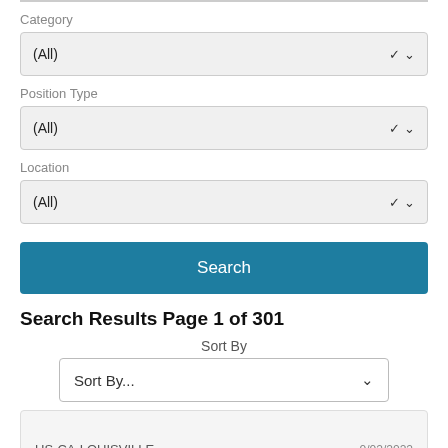Category
[Figure (screenshot): Dropdown select box showing '(All)' for Category]
Position Type
[Figure (screenshot): Dropdown select box showing '(All)' for Position Type]
Location
[Figure (screenshot): Dropdown select box showing '(All)' for Location]
Search
Search Results Page 1 of 301
Sort By
[Figure (screenshot): Dropdown select box showing 'Sort By...']
US-CA-LOUISVILLE